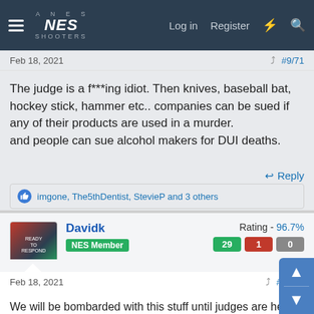NES Shooters — Log in, Register
Feb 18, 2021   #9/71
The judge is a f***ing idiot. Then knives, baseball bat, hockey stick, hammer etc.. companies can be sued if any of their products are used in a murder.
and people can sue alcohol makers for DUI deaths.
Reply
imgone, The5thDentist, StevieP and 3 others
Davidk   NES Member   Rating - 96.7%   29  1  0
Feb 18, 2021   #10/71
We will be bombarded with this stuff until judges are held liable for their stupidity, prosecutors are held liable for malicious and political prosecution, plaintiffs are liable for frivolous lawsuits and politicians are jailed for lieing. In other words, it will never